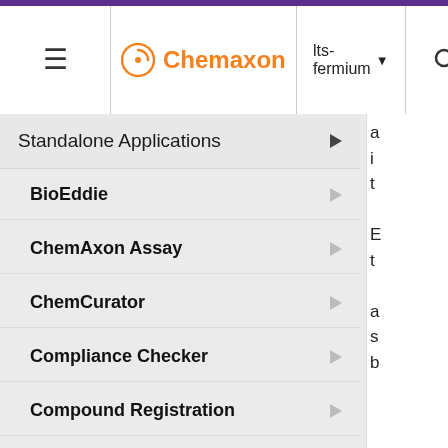Chemaxon — lts-fermium navigation header with hamburger menu and search
Standalone Applications
BioEddie
ChemAxon Assay
ChemCurator
Compliance Checker
Compound Registration
Instant JChem
Instant Jchem User Guide
Instant JChem Administrator Gui...